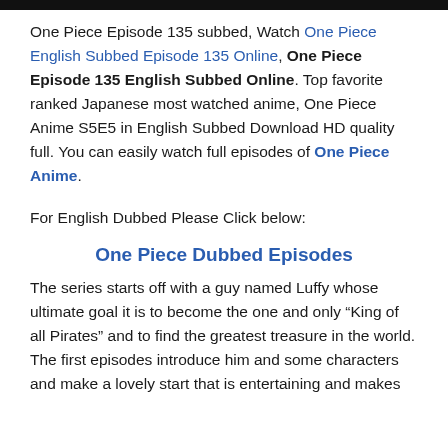One Piece Episode 135 subbed, Watch One Piece English Subbed Episode 135 Online, One Piece Episode 135 English Subbed Online. Top favorite ranked Japanese most watched anime, One Piece Anime S5E5 in English Subbed Download HD quality full. You can easily watch full episodes of One Piece Anime.
For English Dubbed Please Click below:
One Piece Dubbed Episodes
The series starts off with a guy named Luffy whose ultimate goal it is to become the one and only “King of all Pirates” and to find the greatest treasure in the world. The first episodes introduce him and some characters and make a lovely start that is entertaining and makes